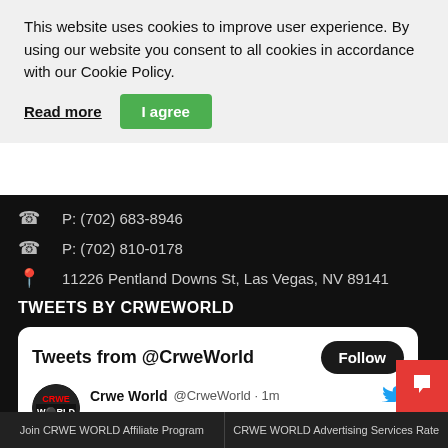This website uses cookies to improve user experience. By using our website you consent to all cookies in accordance with our Cookie Policy.
Read more | I agree
P: (702) 683-8946
P: (702) 810-0178
11226 Pentland Downs St, Las Vegas, NV 89141
TWEETS BY CRWEWORLD
[Figure (screenshot): Tweet card showing 'Tweets from @CrweWorld' with a Follow button, avatar logo for Crwe World, tweet by @CrweWorld posted 1m ago: 'Travelers Institute Launches Fall 2022 Virtual Programming' with link crweworld.com/article/news-p...]
Join CRWE WORLD Affiliate Program
CRWE WORLD Advertising Services Rate